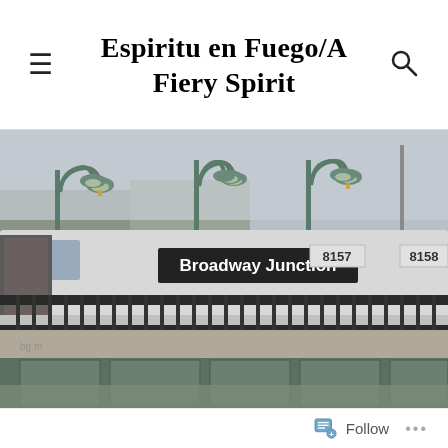Espiritu en Fuego/A Fiery Spirit
[Figure (photo): A New York City subway train stopped at Broadway Junction elevated station. The station sign reads 'Broadway Junction'. Green lamp posts with pendant style lights stand along the platform. The train cars are numbered 8157 and 8158. The station is on an elevated structure with green painted steel girders below. Bare winter trees visible in background.]
Follow